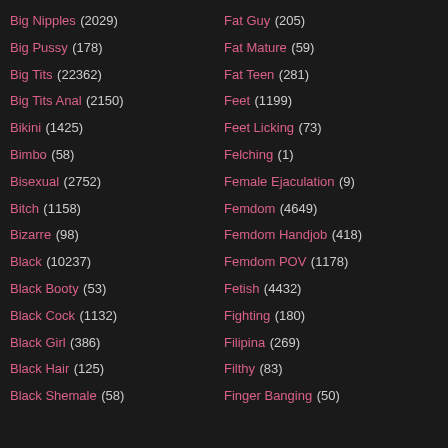Big Nipples (2029)
Big Pussy (178)
Big Tits (22362)
Big Tits Anal (2150)
Bikini (1425)
Bimbo (58)
Bisexual (2752)
Bitch (1158)
Bizarre (98)
Black (10237)
Black Booty (53)
Black Cock (1132)
Black Girl (386)
Black Hair (125)
Black Shemale (58)
Fat Guy (205)
Fat Mature (59)
Fat Teen (281)
Feet (1199)
Feet Licking (73)
Felching (1)
Female Ejaculation (9)
Femdom (4649)
Femdom Handjob (418)
Femdom POV (1178)
Fetish (4432)
Fighting (180)
Filipina (269)
Filthy (83)
Finger Banging (50)